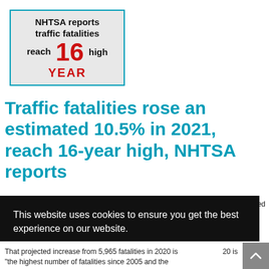[Figure (infographic): NHTSA badge graphic: text reads 'NHTSA reports traffic fatalities reach 16 YEAR high' with '16' in large red bold text and 'YEAR' in red below, on grey background with teal border]
Traffic fatalities rose an estimated 10.5% in 2021, reach 16-year high, NHTSA reports
Traffic fatalities from vehicle crashes reached...
This website uses cookies to ensure you get the best experience on our website.
Learn more
Got it!
That projected increase from 5,965 fatalities in 2020 is "the highest number of fatalities since 2005 and the